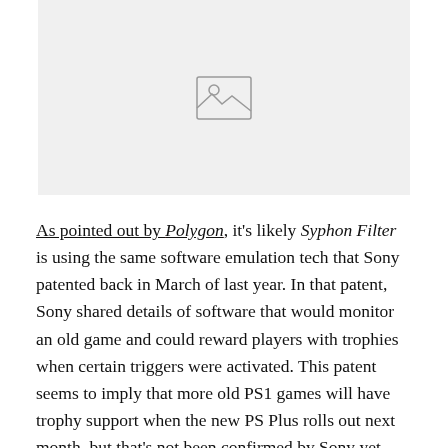[Figure (photo): Image placeholder with mountain/landscape icon on light gray background]
As pointed out by Polygon, it's likely Syphon Filter is using the same software emulation tech that Sony patented back in March of last year. In that patent, Sony shared details of software that would monitor an old game and could reward players with trophies when certain triggers were activated. This patent seems to imply that more old PS1 games will have trophy support when the new PS Plus rolls out next month, but that's not been confirmed by Sony yet.
Kotaku has contacted Sony about more PS1 games getting trophies